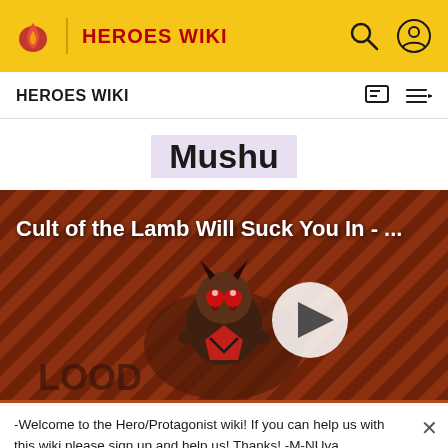HEROES WIKI
HEROES WIKI
Mushu
[Figure (screenshot): Video thumbnail showing animated character from Cult of the Lamb game with diagonal stripe background and play button overlay. Title text reads: Cult of the Lamb Will Suck You In - ...]
-Welcome to the Hero/Protagonist wiki! If you can help us with this wiki please sign up and help us! Thanks! -M-NUva